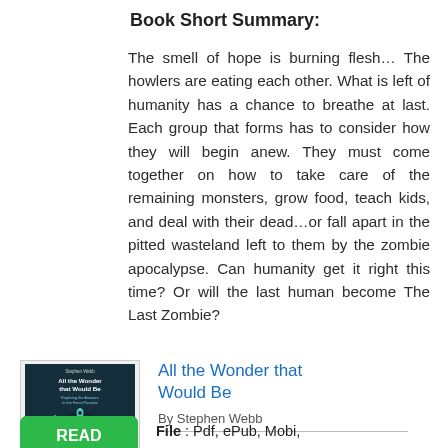Book Short Summary:
The smell of hope is burning flesh… The howlers are eating each other. What is left of humanity has a chance to breathe at last. Each group that forms has to consider how they will begin anew. They must come together on how to take care of the remaining monsters, grow food, teach kids, and deal with their dead…or fall apart in the pitted wasteland left to them by the zombie apocalypse. Can humanity get it right this time? Or will the last human become The Last Zombie?
[Figure (illustration): Book cover thumbnail for 'All the Wonder that Would Be' by Stephen Webb — dark blue/teal cover with title text and a rocket/space illustration]
All the Wonder that Would Be
By Stephen Webb
[Figure (other): Green READ button]
File : Pdf, ePub, Mobi, Kindle